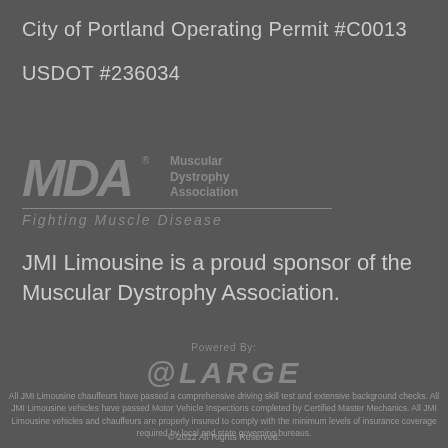City of Portland Operating Permit #C0013
USDOT #236034
[Figure (logo): MDA Muscular Dystrophy Association logo with text 'Fighting Muscle Disease']
JMI Limousine is a proud sponsor of the Muscular Dystrophy Association.
Powered By:
@LARGE
All JMI Limousine chauffeurs have passed a comprehensive driving skill test and extensive background checks. All JMI Limousine vehicles have passed Motor Vehicle Inspections completed by Certified Master Mechanics. All JMI Limousine vehicles and chauffeurs are properly insured to comply with the minimum levels of insurance coverage required by local and state governing bureaus.
© 2022 All Rights Reserved.